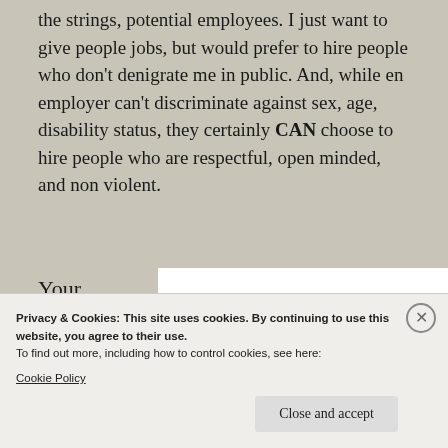the strings, potential employees. I just want to give people jobs, but would prefer to hire people who don't denigrate me in public. And, while en employer can't discriminate against sex, age, disability status, they certainly CAN choose to hire people who are respectful, open minded, and non violent.
Your
words
CAN
[Figure (illustration): Stylized hand-lettered text reading 'IRANT' in bold black italic letters on a white background]
Privacy & Cookies: This site uses cookies. By continuing to use this website, you agree to their use.
To find out more, including how to control cookies, see here:
Cookie Policy
Close and accept